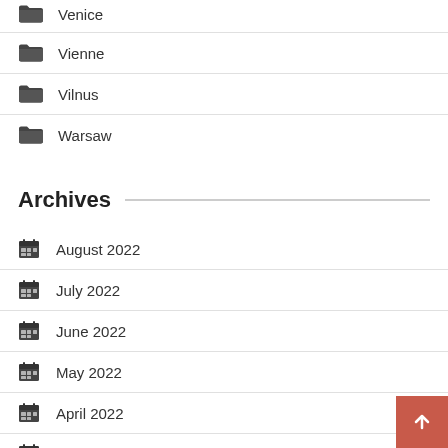Venice
Vienne
Vilnus
Warsaw
Archives
August 2022
July 2022
June 2022
May 2022
April 2022
March 2022
February 2022